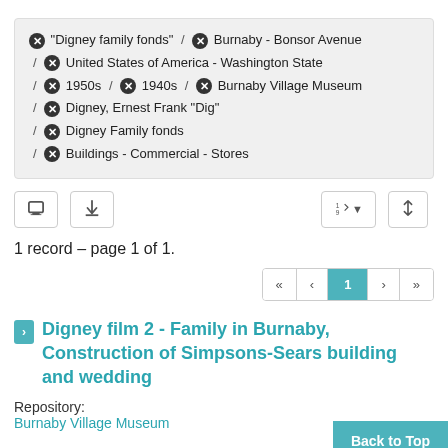"Digney family fonds" / Burnaby - Bonsor Avenue / United States of America - Washington State / 1950s / 1940s / Burnaby Village Museum / Digney, Ernest Frank "Dig" / Digney Family fonds / Buildings - Commercial - Stores
1 record – page 1 of 1.
1
Digney film 2 - Family in Burnaby, Construction of Simpsons-Sears building and wedding
Repository: Burnaby Village Museum